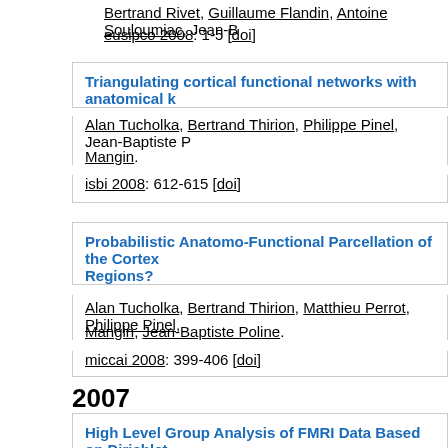Bertrand Rivet, Guillaume Flandin, Antoine Souloumiac, Jean-B…
eusipco 2008: 1-5 [doi]
Triangulating cortical functional networks with anatomical k…
Alan Tucholka, Bertrand Thirion, Philippe Pinel, Jean-Baptiste P… Mangin.
isbi 2008: 612-615 [doi]
Probabilistic Anatomo-Functional Parcellation of the Cortex… Regions?
Alan Tucholka, Bertrand Thirion, Matthieu Perrot, Philippe Pinel, … Mangin, Jean-Baptiste Poline.
miccai 2008: 399-406 [doi]
2007
High Level Group Analysis of FMRI Data Based on Dirichlet… Models